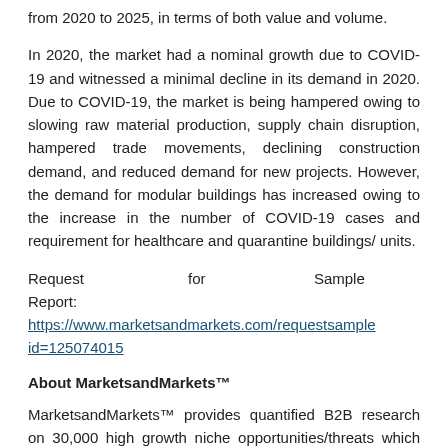from 2020 to 2025, in terms of both value and volume.
In 2020, the market had a nominal growth due to COVID-19 and witnessed a minimal decline in its demand in 2020. Due to COVID-19, the market is being hampered owing to slowing raw material production, supply chain disruption, hampered trade movements, declining construction demand, and reduced demand for new projects. However, the demand for modular buildings has increased owing to the increase in the number of COVID-19 cases and requirement for healthcare and quarantine buildings/ units.
Request for Sample Report: https://www.marketsandmarkets.com/requestsample/id=125074015
About MarketsandMarkets™
MarketsandMarkets™ provides quantified B2B research on 30,000 high growth niche opportunities/threats which will impact 70% to 80% of worldwide corporate revenues.